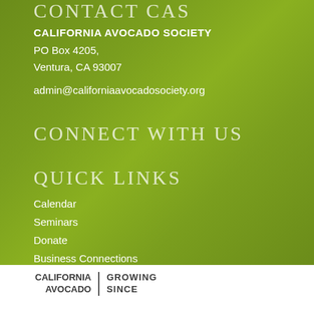CONTACT CAS
CALIFORNIA AVOCADO SOCIETY
PO Box 4205,
Ventura, CA 93007
admin@californiaavocadosociety.org
CONNECT WITH US
QUICK LINKS
Calendar
Seminars
Donate
Business Connections
Helpful Links
CALIFORNIA AVOCADO | GROWING SINCE